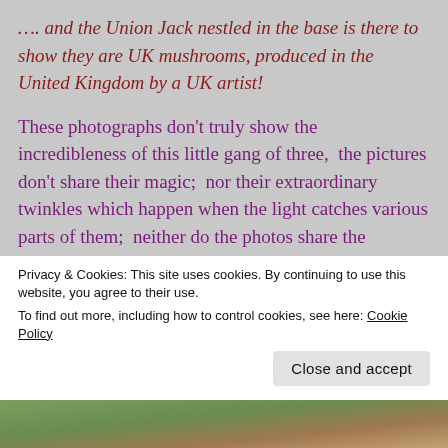…. and the Union Jack nestled in the base is there to show they are UK mushrooms, produced in the United Kingdom by a UK artist!
These photographs don't truly show the incredibleness of this little gang of three,  the pictures don't share their magic;  nor their extraordinary twinkles which happen when the light catches various parts of them;  neither do the photos share the unbelievable glow they have!  I roned Mr Cohs in to see if he could capture their
Privacy & Cookies: This site uses cookies. By continuing to use this website, you agree to their use.
To find out more, including how to control cookies, see here: Cookie Policy
Close and accept